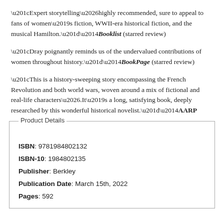“Expert storytelling…highly recommended, sure to appeal to fans of women’s fiction, WWII-era historical fiction, and the musical Hamilton.”—Booklist (starred review)
“Dray poignantly reminds us of the undervalued contributions of women throughout history.”—BookPage (starred review)
“This is a history-sweeping story encompassing the French Revolution and both world wars, woven around a mix of fictional and real-life characters….It’s a long, satisfying book, deeply researched by this wonderful historical novelist.”—AARP
| ISBN | 9781984802132 |
| ISBN-10 | 1984802135 |
| Publisher | Berkley |
| Publication Date | March 15th, 2022 |
| Pages | 592 |